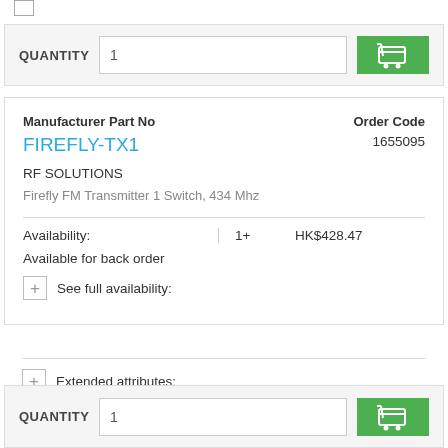[Figure (screenshot): Quantity input bar with label QUANTITY, input field showing 1, and green shopping cart button]
Manufacturer Part No
FIREFLY-TX1
Order Code
1655095
RF SOLUTIONS
Firefly FM Transmitter 1 Switch, 434 Mhz
Availability:
1+
HK$428.47
Available for back order
See full availability:
Extended attributes:
[Figure (screenshot): Quantity input bar with label QUANTITY, input field showing 1, and green shopping cart button]